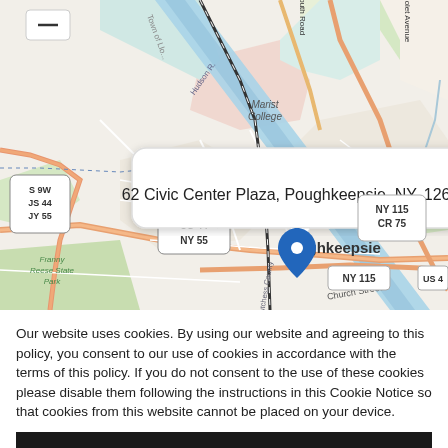[Figure (map): Street map of Poughkeepsie, NY showing location pin at 62 Civic Center Plaza. Map shows Hudson River, Dutchess County, Marist College, US 44/NY 55 routes, NY 115/CR 75, Church Street, Franny Reese State Park, and a popup tooltip reading '62 Civic Center Plaza, Poughkeepsie, NY, 12601'.]
Our website uses cookies. By using our website and agreeing to this policy, you consent to our use of cookies in accordance with the terms of this policy. If you do not consent to the use of these cookies please disable them following the instructions in this Cookie Notice so that cookies from this website cannot be placed on your device.
I ACCEPT COOKIES